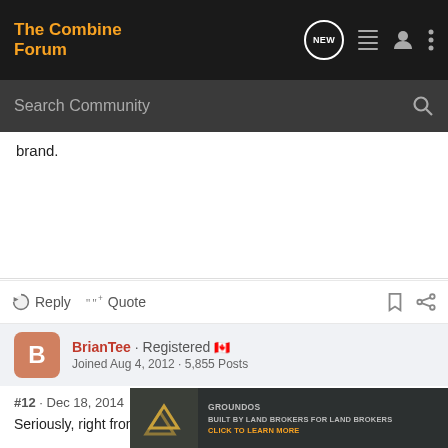The Combine Forum
Search Community
brand.
Reply  Quote
BrianTee · Registered 🇨🇦
Joined Aug 4, 2012 · 5,855 Posts
#12  ·  Dec 18, 2014
Seriously, right from my point, that isn't tha...
[Figure (screenshot): GroundOS advertisement banner: BUILT BY LAND BROKERS FOR LAND BROKERS - CLICK TO LEARN MORE]